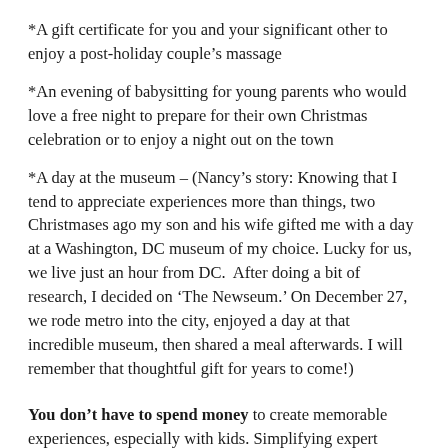*A gift certificate for you and your significant other to enjoy a post-holiday couple's massage
*An evening of babysitting for young parents who would love a free night to prepare for their own Christmas celebration or to enjoy a night out on the town
*A day at the museum – (Nancy's story: Knowing that I tend to appreciate experiences more than things, two Christmases ago my son and his wife gifted me with a day at a Washington, DC museum of my choice. Lucky for us, we live just an hour from DC.  After doing a bit of research, I decided on ‘The Newseum.’ On December 27, we rode metro into the city, enjoyed a day at that incredible museum, then shared a meal afterwards. I will remember that thoughtful gift for years to come!)
You don't have to spend money to create memorable experiences, especially with kids. Simplifying expert Elaine St. James suggests creating a holiday countdown that focuses on